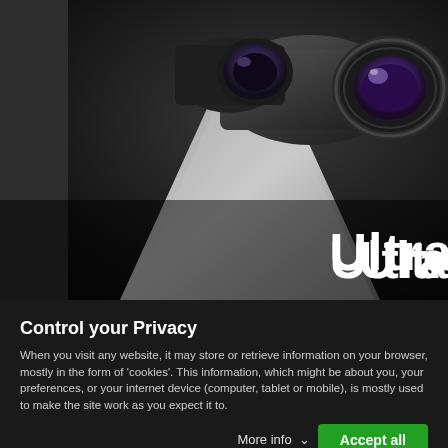[Figure (photo): Close-up photo of a dark security camera or dashcam with purple-tinted lens, mounted on a bracket. Dark background. Text 'Ultra' partially visible in white bold font at bottom right.]
Control your Privacy
When you visit any website, it may store or retrieve information on your browser, mostly in the form of 'cookies'. This information, which might be about you, your preferences, or your internet device (computer, tablet or mobile), is mostly used to make the site work as you expect it to.